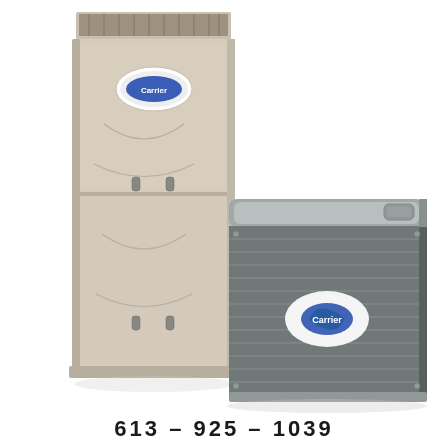[Figure (photo): Carrier HVAC system showing a tall beige gas furnace unit on the left and a grey outdoor air conditioning condenser unit on the right, both with Carrier logos visible.]
613 - 925 - 1039